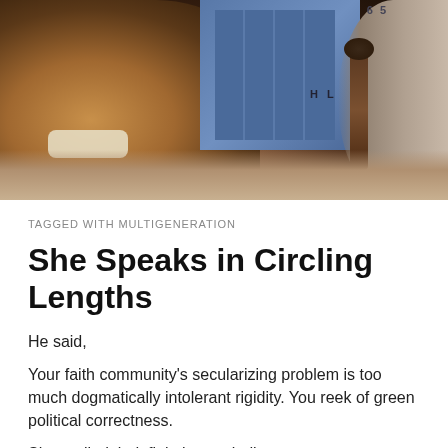[Figure (photo): Close-up photo showing two people — on the left, a person of color smiling with teeth visible, and on the right, an older person's arm and hand holding what appears to be a cane or stick. A background of blue lockers is visible in the middle.]
TAGGED WITH MULTIGENERATION
She Speaks in Circling Lengths
He said,
Your faith community's secularizing problem is too much dogmatically intolerant rigidity. You reek of green political correctness.
She replied, indefinitely concluding,